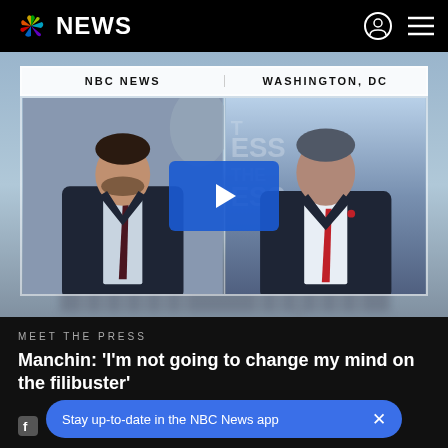NBC NEWS
[Figure (screenshot): NBC News video thumbnail showing a split-screen with NBC NEWS label on left and WASHINGTON, DC on right. Left frame shows a male anchor/host in dark suit. Right frame shows a male politician in dark suit with red tie. A blue play button overlay is shown in the center.]
MEET THE PRESS
Manchin: 'I'm not going to change my mind on the filibuster'
Stay up-to-date in the NBC News app